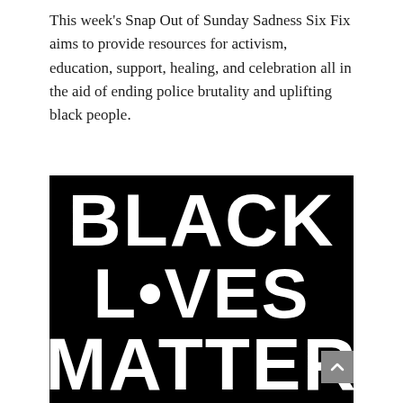This week's Snap Out of Sunday Sadness Six Fix aims to provide resources for activism, education, support, healing, and celebration all in the aid of ending police brutality and uplifting black people.
[Figure (illustration): Black background image with large hand-lettered white text reading 'BLACK LIVES MATTER' in three rows, partially cropped at the bottom.]